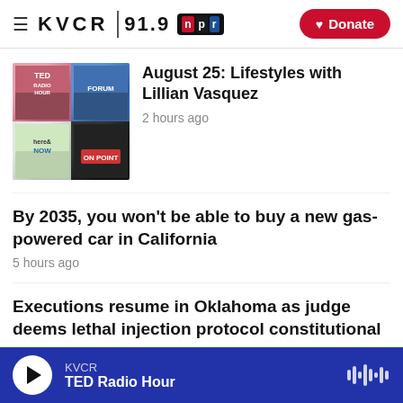KVCR 91.9 NPR | Donate
[Figure (photo): Thumbnail grid showing TED Radio Hour, Forum, Here & Now, and On Point show logos]
August 25: Lifestyles with Lillian Vasquez
2 hours ago
By 2035, you won't be able to buy a new gas-powered car in California
5 hours ago
Executions resume in Oklahoma as judge deems lethal injection protocol constitutional
6 hours ago
Student loan forgiveness gives borrowers some financial breathing room
KVCR | TED Radio Hour